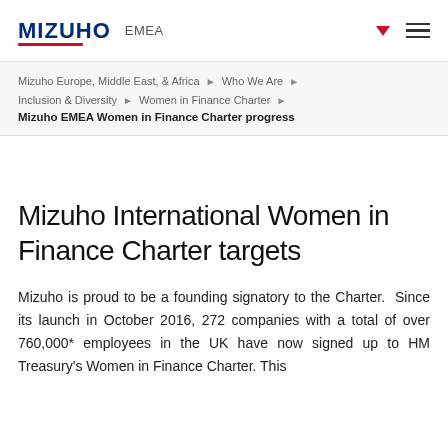MIZUHO EMEA
Mizuho Europe, Middle East, & Africa ▶ Who We Are ▶ Inclusion & Diversity ▶ Women in Finance Charter ▶ Mizuho EMEA Women in Finance Charter progress
Mizuho International Women in Finance Charter targets
Mizuho is proud to be a founding signatory to the Charter.  Since its launch in October 2016, 272 companies with a total of over 760,000* employees in the UK have now signed up to HM Treasury's Women in Finance Charter. This